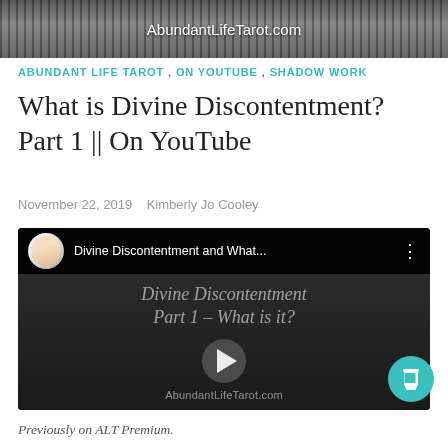[Figure (photo): Header image showing AbundantLifeTarot.com website banner with decorative overlapping images and text]
ABUNDANT LIFE TAROT , ON YOUTUBE , SHADOW WORK
What is Divine Discontentment? Part 1 || On YouTube
November 22, 2019   Kimberly Jo Cooley
[Figure (screenshot): YouTube video embed showing 'Divine Discontentment and What...' with play button overlay, cursive text reading 'Divine Discontentment Part 1 - What is it?' and AbundantLifeTarot.com watermark]
Previously on ALT Premium.